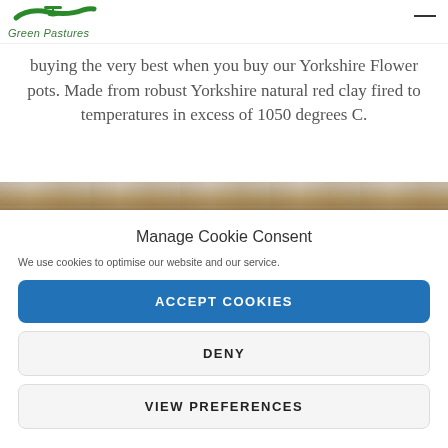Green Pastures
buying the very best when you buy our Yorkshire Flower pots. Made from robust Yorkshire natural red clay fired to temperatures in excess of 1050 degrees C.
[Figure (photo): Partial view of wooden fence or shed structure with natural wood tones]
Manage Cookie Consent
We use cookies to optimise our website and our service.
ACCEPT COOKIES
DENY
VIEW PREFERENCES